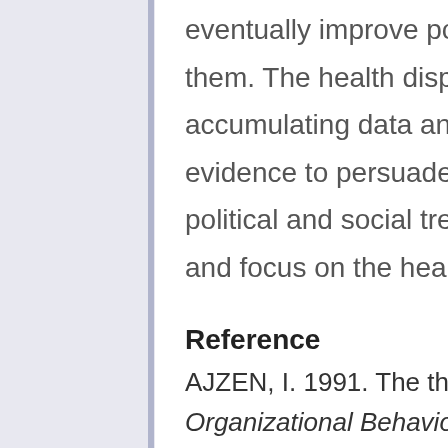eventually improve policies at the national level based on them. The health disparities can be minimized by accumulating data and research, gathering enough evidence to persuade the government, and creating a political and social trend in which the people speak out and focus on the health disparities.
Reference
AJZEN, I. 1991. The theory of planned behavior. Organizational Behavior and Human Decision Processes, 50, 179-211.
BATESON, P., BARKER, D.